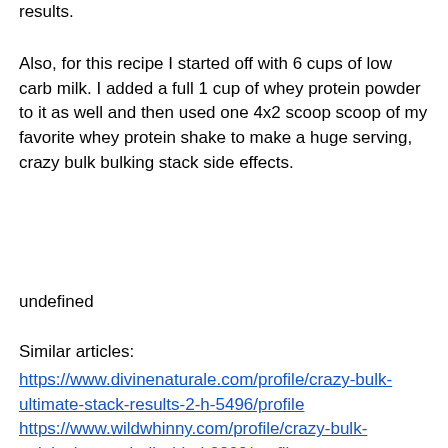results.
Also, for this recipe I started off with 6 cups of low carb milk. I added a full 1 cup of whey protein powder to it as well and then used one 4x2 scoop scoop of my favorite whey protein shake to make a huge serving, crazy bulk bulking stack side effects.
undefined
Similar articles:
https://www.divinenaturale.com/profile/crazy-bulk-ultimate-stack-results-2-h-5496/profile https://www.wildwhinny.com/profile/crazy-bulk-opinioni-crazy-bulk-d-bal-3209/profile https://www.studentsagainstchildmarriage.org/profile/bulking-steroid-cycle-chart-best-oral-b-3450/profile https://www.kaeraemarketing.com/profile/crazy-bulk-dbal-crazy-bulk-work-3573/profile